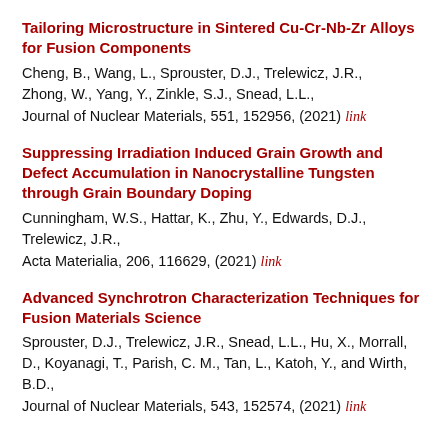Tailoring Microstructure in Sintered Cu-Cr-Nb-Zr Alloys for Fusion Components
Cheng, B., Wang, L., Sprouster, D.J., Trelewicz, J.R., Zhong, W., Yang, Y., Zinkle, S.J., Snead, L.L.,
Journal of Nuclear Materials, 551, 152956, (2021) link
Suppressing Irradiation Induced Grain Growth and Defect Accumulation in Nanocrystalline Tungsten through Grain Boundary Doping
Cunningham, W.S., Hattar, K., Zhu, Y., Edwards, D.J., Trelewicz, J.R.,
Acta Materialia, 206, 116629, (2021) link
Advanced Synchrotron Characterization Techniques for Fusion Materials Science
Sprouster, D.J., Trelewicz, J.R., Snead, L.L., Hu, X., Morrall, D., Koyanagi, T., Parish, C. M., Tan, L., Katoh, Y., and Wirth, B.D.,
Journal of Nuclear Materials, 543, 152574, (2021) link